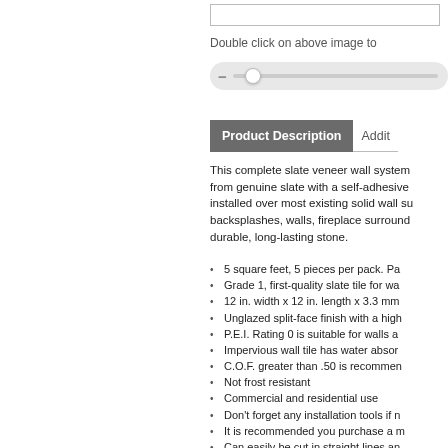[Figure (screenshot): Top input box (truncated, right side of page)]
Double click on above image to
[Figure (screenshot): Horizontal slider control with minus icon and thumb]
Product Description | Addit...
This complete slate veneer wall system from genuine slate with a self-adhesive installed over most existing solid wall su backsplashes, walls, fireplace surround durable, long-lasting stone.
5 square feet, 5 pieces per pack. Pa
Grade 1, first-quality slate tile for wa
12 in. width x 12 in. length x 3.3 mm
Unglazed split-face finish with a high
P.E.I. Rating 0 is suitable for walls a
Impervious wall tile has water absor
C.O.F. greater than .50 is recommen
Not frost resistant
Commercial and residential use
Don't forget any installation tools if n
It is recommended you purchase a m
Can easily be cut in straight lines an